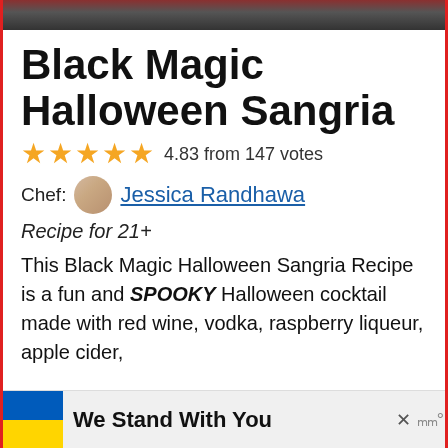[Figure (photo): Partial top image of Halloween Sangria drink with dark background]
Black Magic Halloween Sangria
4.83 from 147 votes
Chef: Jessica Randhawa
Recipe for 21+
This Black Magic Halloween Sangria Recipe is a fun and SPOOKY Halloween cocktail made with red wine, vodka, raspberry liqueur, apple cider,
[Figure (infographic): Advertisement banner: Ukraine flag with text 'We Stand With You']